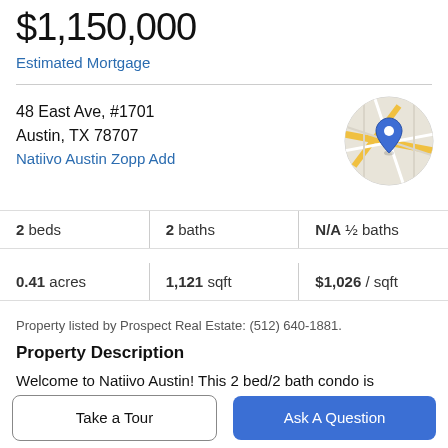$1,150,000
Estimated Mortgage
48 East Ave, #1701
Austin, TX 78707
Natiivo Austin Zopp Add
[Figure (map): Circular map thumbnail with blue location pin marker over street map of Austin area]
2 beds | 2 baths | N/A ½ baths
0.41 acres | 1,121 sqft | $1,026 / sqft
Property listed by Prospect Real Estate: (512) 640-1881.
Property Description
Welcome to Natiivo Austin! This 2 bed/2 bath condo is available fully furnished, including the appliances and
Take a Tour
Ask A Question